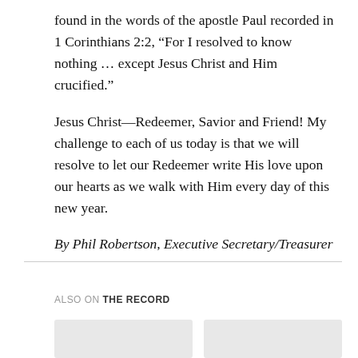found in the words of the apostle Paul recorded in 1 Corinthians 2:2, “For I resolved to know nothing … except Jesus Christ and Him crucified.”
Jesus Christ—Redeemer, Savior and Friend! My challenge to each of us today is that we will resolve to let our Redeemer write His love upon our hearts as we walk with Him every day of this new year.
By Phil Robertson, Executive Secretary/Treasurer
ALSO ON THE RECORD